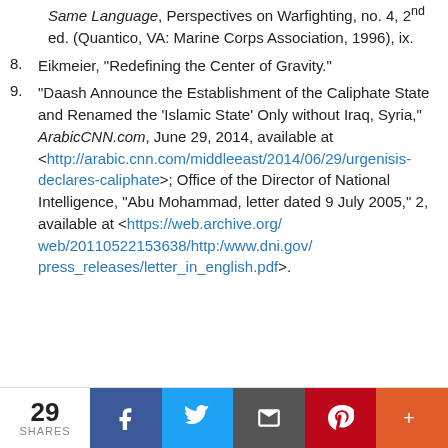Same Language, Perspectives on Warfighting, no. 4, 2nd ed. (Quantico, VA: Marine Corps Association, 1996), ix.
8. Eikmeier, “Redefining the Center of Gravity.”
9. “Daash Announce the Establishment of the Caliphate State and Renamed the ‘Islamic State’ Only without Iraq, Syria,” ArabicCNN.com, June 29, 2014, available at <http://arabic.cnn.com/middleeast/2014/06/29/urgent-isis-declares-caliphate>; Office of the Director of National Intelligence, “Abu Mohammad, letter dated 9 July 2005,” 2, available at <https://web.archive.org/web/20110522153638/http:/www.dni.gov/press_releases/letter_in_english.pdf>.
29 SHARES | Facebook | Twitter | Email | Pinterest | More